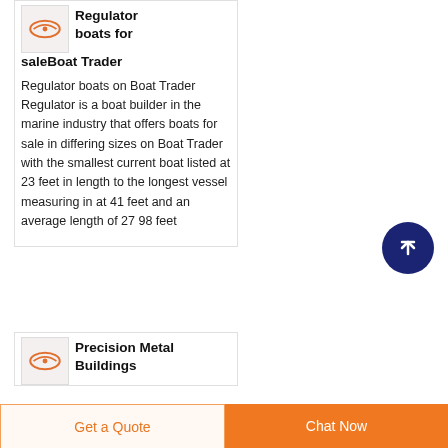[Figure (logo): Boat Trader logo thumbnail with orange chain/anchor icon on white background]
Regulator boats for saleBoat Trader
Regulator boats on Boat Trader Regulator is a boat builder in the marine industry that offers boats for sale in differing sizes on Boat Trader with the smallest current boat listed at 23 feet in length to the longest vessel measuring in at 41 feet and an average length of 27 98 feet
[Figure (logo): Scroll to top button - dark navy circle with white upward arrow]
[Figure (logo): Boat Trader logo thumbnail - second card for Precision Metal Buildings]
Precision Metal Buildings
Get a Quote
Chat Now